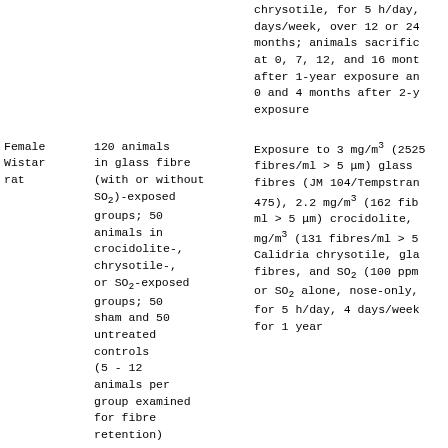|  |  | chrysotile, for 5 h/day, 5 days/week, over 12 or 24 months; animals sacrificed at 0, 7, 12, and 16 months after 1-year exposure and 0 and 4 months after 2-year exposure |
| Female Wistar rat | 120 animals in glass fibre (with or without SO2)-exposed groups; 50 animals in crocidolite-, chrysotile-, or SO2-exposed groups; 50 sham and 50 untreated controls (5 - 12 animals per group examined for fibre retention) | Exposure to 3 mg/m3 (2525 fibres/ml > 5 μm) glass fibres (JM 104/Tempstran 475), 2.2 mg/m3 (162 fibres/ml > 5 μm) crocidolite, mg/m3 (131 fibres/ml > 5) Calidria chrysotile, glass fibres, and SO2 (100 ppm) or SO2 alone, nose-only, for 5 h/day, 4 days/week, for 1 year |